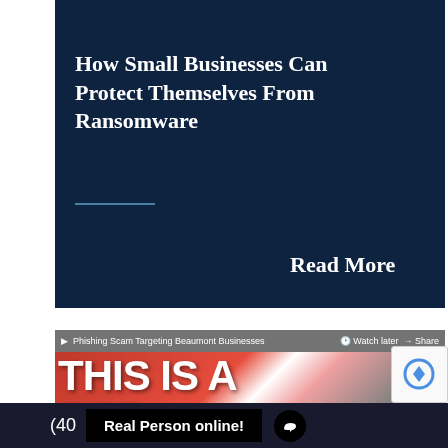[Figure (screenshot): Top portion of article card with dark navy background, image strip at top showing text 'PAYS A RANSOM TO THE ATTACKER' in bold white on gray background]
How Small Businesses Can Protect Themselves From Ransomware
Read More
[Figure (screenshot): Video thumbnail showing 'THIS IS A SCAM' with news overlay bar reading 'Phishing Scam Targeting Beaumont Businesses' and a man's face on the right]
(40
Real Person online!